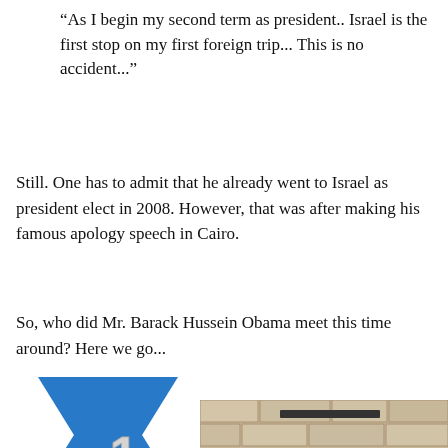“As I begin my second term as president.. Israel is the first stop on my first foreign trip... This is no accident...”
Still. One has to admit that he already went to Israel as president elect in 2008. However, that was after making his famous apology speech in Cairo.
So, who did Mr. Barack Hussein Obama meet this time around? Here we go...
[Figure (illustration): Blue Star of David with a silver metallic number 1 overlaid on it]
[Figure (photo): Partial photo of a stone wall structure at the bottom of the page]